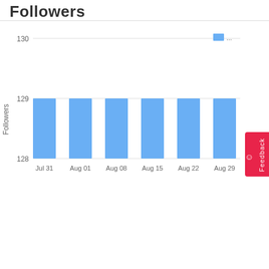Followers
[Figure (bar-chart): Followers]